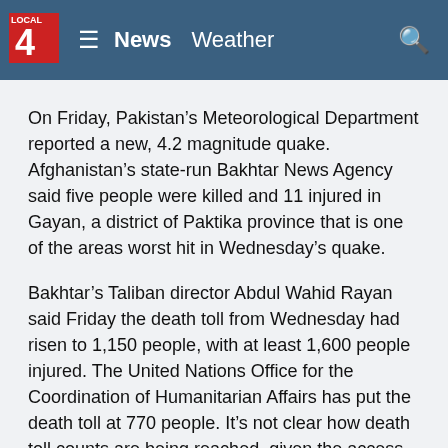LOCAL 4 News Weather
On Friday, Pakistan's Meteorological Department reported a new, 4.2 magnitude quake. Afghanistan's state-run Bakhtar News Agency said five people were killed and 11 injured in Gayan, a district of Paktika province that is one of the areas worst hit in Wednesday's quake.
Bakhtar's Taliban director Abdul Wahid Rayan said Friday the death toll from Wednesday had risen to 1,150 people, with at least 1,600 people injured. The United Nations Office for the Coordination of Humanitarian Affairs has put the death toll at 770 people. It's not clear how death toll counts are being reached, given the access difficulties. Either toll would make the quake Afghanistan's deadliest in two decades.